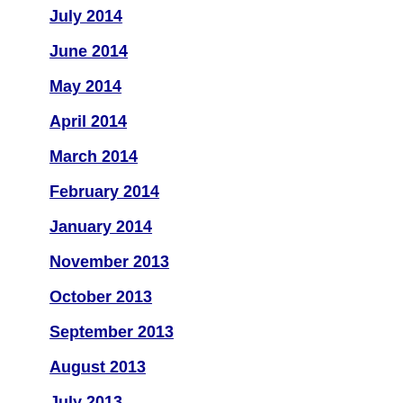July 2014
June 2014
May 2014
April 2014
March 2014
February 2014
January 2014
November 2013
October 2013
September 2013
August 2013
July 2013
June 2013
May 2013
April 2013
March 2013
February 2013
December 2012
results for me. Sometimes even when other people a…
So right now, when you lis… What is it telling you to do… that you've always imagine…
Listen to that intuitive side…
If you order my Commerci… customize and mail or E-m… also receive the following t…
1) A special, dynamic 170-pa… Palmer. This book contains e… brands you in the minds of al…
2) My highly-acclaimed speci… Now!", featuring my prospect… get the decision maker to tal… prospects to call you back.
3) Access to listen to my 57-m… Commercial Real Estate Mar… phenomenon that's driving…